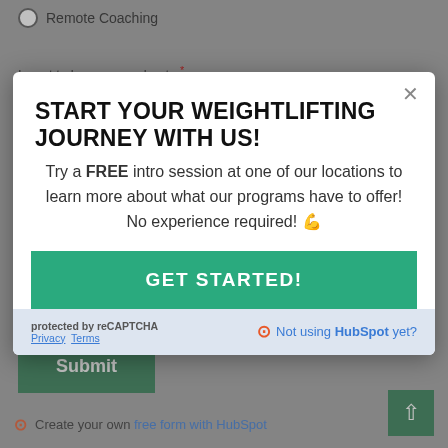Remote Coaching
I want to learn more about...*
[Figure (screenshot): Modal popup overlay on a web form with title 'START YOUR WEIGHTLIFTING JOURNEY WITH US!', body text about free intro session, a green GET STARTED button, reCAPTCHA notice, and HubSpot branding]
GET STARTED!
protected by reCAPTCHA · Privacy · Terms
Not using HubSpot yet?
Submit
Create your own free form with HubSpot